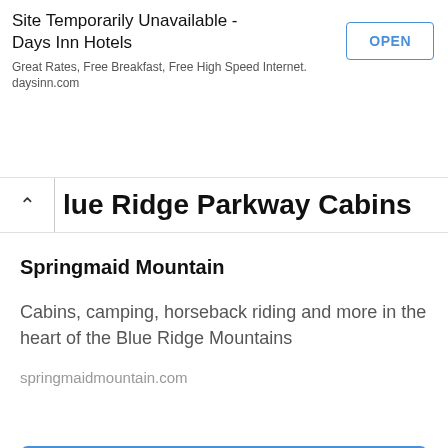Site Temporarily Unavailable - Days Inn Hotels
Great Rates, Free Breakfast, Free High Speed Internet. daysinn.com
OPEN
Blue Ridge Parkway Cabins
Springmaid Mountain
Cabins, camping, horseback riding and more in the heart of the Blue Ridge Mountains
springmaidmountain.com
OPEN